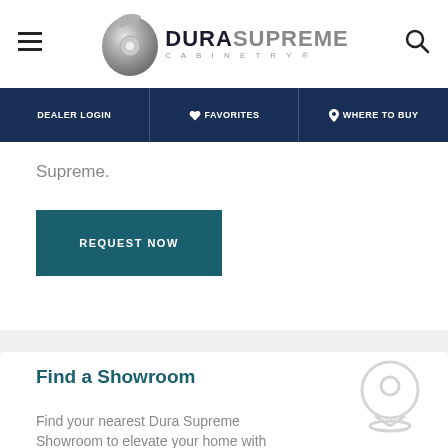[Figure (logo): Dura Supreme Cabinetry logo with silver disc icon and bold text]
DEALER LOGIN | FAVORITES | WHERE TO BUY
Supreme.
REQUEST NOW
Find a Showroom
Find your nearest Dura Supreme Showroom to elevate your home with